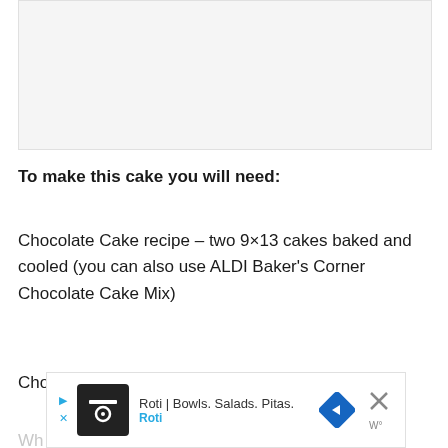[Figure (photo): Image placeholder area, light gray background]
To make this cake you will need:
Chocolate Cake recipe – two 9×13 cakes baked and cooled (you can also use ALDI Baker's Corner Chocolate Cake Mix)
Chocolate Buttercream
Wh...
[Figure (other): Advertisement banner: Roti | Bowls. Salads. Pitas. with logo and navigation arrow icon]